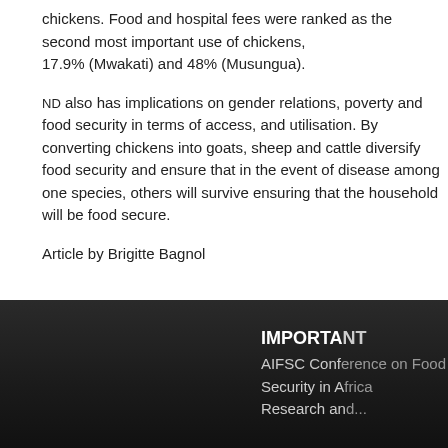chickens. Food and hospital fees were ranked as the second most important use of chickens, 17.9% (Mwakati) and 48% (Musungua).
ND also has implications on gender relations, poverty and food security in terms of access, and utilisation. By converting chickens into goats, sheep and cattle diversify food security and ensure that in the event of disease among one species, others will survive ensuring that the household will be food secure.
Article by Brigitte Bagnol
IMPORTANT DATES
AIFSC Conference on Food Security in Africa
Research and...